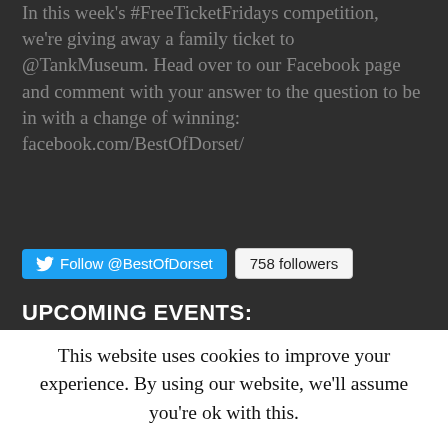In this week's #FreeTicketFridays competition, we're giving away a family ticket to @TankMuseum. Head over to our Facebook page and comment with your answer to the question to be in with a change of winning: facebook.com/BestOfDorset/
[Figure (other): Twitter follow button for @BestOfDorset showing 758 followers badge]
UPCOMING EVENTS:
This website uses cookies to improve your experience. By using our website, we'll assume you're ok with this.
Accept  Read More  Translate »